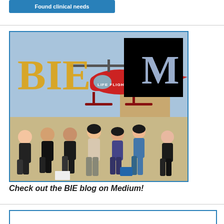Found clinical needs
[Figure (photo): Group photo of approximately 7 students posing in front of a Life Flight helicopter on a rooftop helipad. The image has 'BIE' text in large gold/yellow letters on the left side and a Medium (M) logo in a black square on the upper right.]
Check out the BIE blog on Medium!